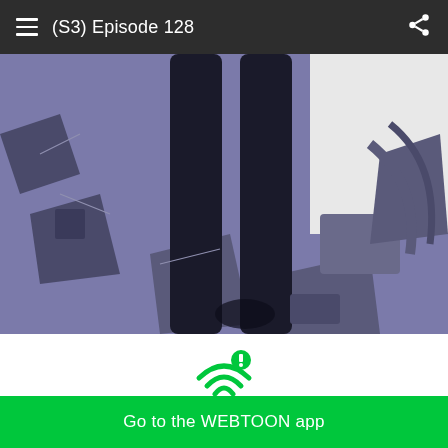(S3) Episode 128
[Figure (illustration): Webtoon comic panel showing a character's legs in black pants/boots standing amid purple-toned debris or wreckage. The background features broken objects in muted purple and grey tones.]
[Figure (infographic): Green WiFi icon with an exclamation mark badge in a green circle, indicating a network error or slow connection warning.]
Having trouble with slow networks?
Download stories on your phone and read offline!
Go to the WEBTOON app